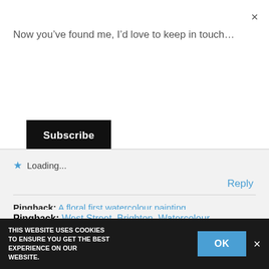Now you've found me, I'd love to keep in touch…
Subscribe
×
★ Loading...
Reply
Pingback: A floral first watercolour painting
Pingback: West Street, Brighton, Watercolour
THIS WEBSITE USES COOKIES TO ENSURE YOU GET THE BEST EXPERIENCE ON OUR WEBSITE.
OK
×